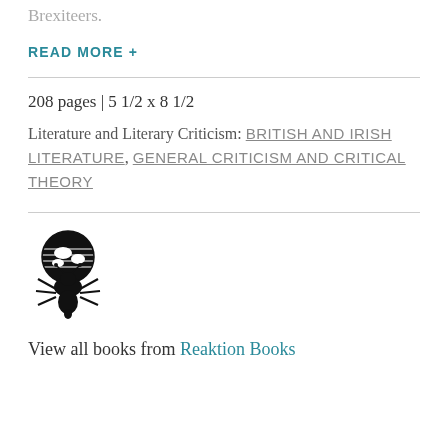Brexiteers.
READ MORE +
208 pages | 5 1/2 x 8 1/2
Literature and Literary Criticism: BRITISH AND IRISH LITERATURE, GENERAL CRITICISM AND CRITICAL THEORY
[Figure (logo): Reaktion Books logo: an ant holding a globe]
View all books from Reaktion Books